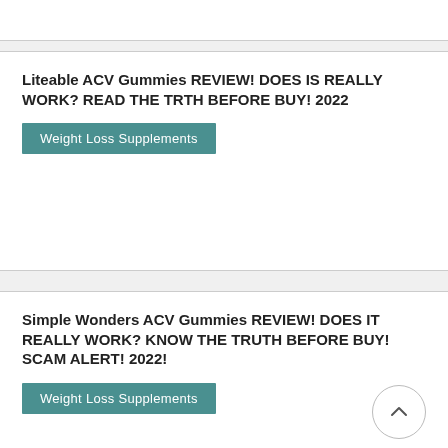Liteable ACV Gummies REVIEW! DOES IS REALLY WORK? READ THE TRTH BEFORE BUY! 2022
Weight Loss Supplements
Simple Wonders ACV Gummies REVIEW! DOES IT REALLY WORK? KNOW THE TRUTH BEFORE BUY! SCAM ALERT! 2022!
Weight Loss Supplements
Alpha Cuts REVIEW! DOES IT REALLY WORK?